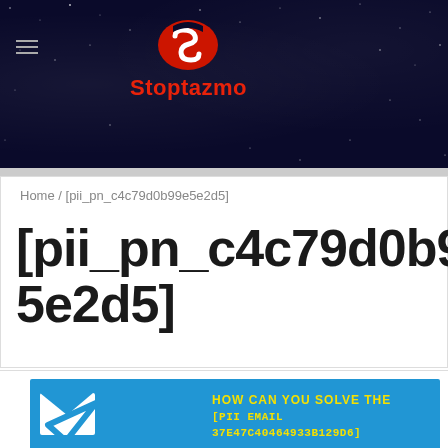[Figure (logo): Stoptazmo website header with dark starry night background, red S-shaped logo icon and red 'Stoptazmo' text, hamburger menu icon on left]
Home / [pii_pn_c4c79d0b99e5e2d5]
[pii_pn_c4c79d0b99e5e2d5]
[Figure (infographic): Blue banner image with white envelope/email icon on the left and yellow bold text reading 'HOW CAN YOU SOLVE THE [PII EMAIL 37E47C40464933B129D6]']